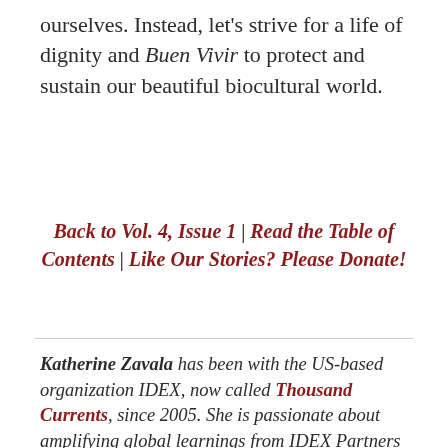ourselves. Instead, let's strive for a life of dignity and Buen Vivir to protect and sustain our beautiful biocultural world.
Back to Vol. 4, Issue 1 | Read the Table of Contents | Like Our Stories? Please Donate!
Katherine Zavala has been with the US-based organization IDEX, now called Thousand Currents, since 2005. She is passionate about amplifying global learnings from IDEX Partners with the US